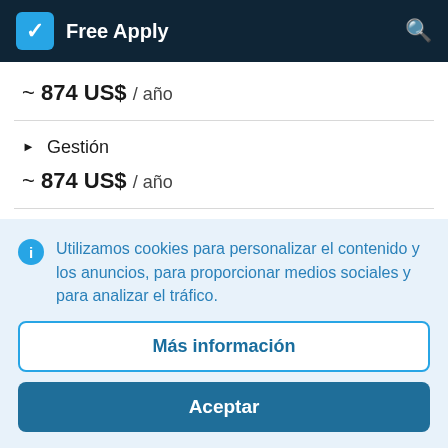Free Apply
~ 874 US$ / año
▶ Gestión
~ 874 US$ / año
▶ Ley y jurisprudencia
Utilizamos cookies para personalizar el contenido y los anuncios, para proporcionar medios sociales y para analizar el tráfico.
Más información
Aceptar